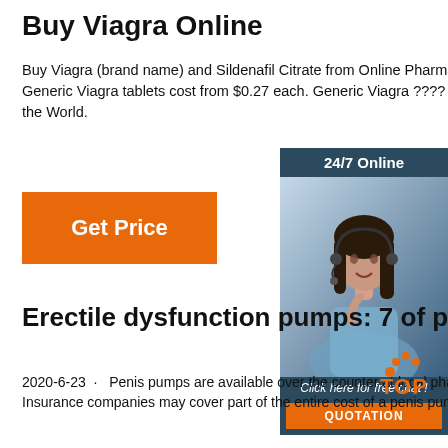Buy Viagra Online
Buy Viagra (brand name) and Sildenafil Citrate from Online Pharmacy US or CA. Generic Viagra tablets cost from $0.27 each. Generic Viagra ???? at the best price in the World.
[Figure (illustration): Orange 'Get Price' button]
[Figure (infographic): Dark blue sidebar ad with '24/7 Online' header, woman with headset photo, 'Click here for free chat!' text, and orange QUOTATION button]
Erectile dysfunction pumps: 7 of penis pump
2020-6-23 · Penis pumps are available over the counter at local pharmacies and online. Insurance companies may cover part of the entire cost of a penis pump if a ...
[Figure (logo): TOP logo watermark in bottom right]